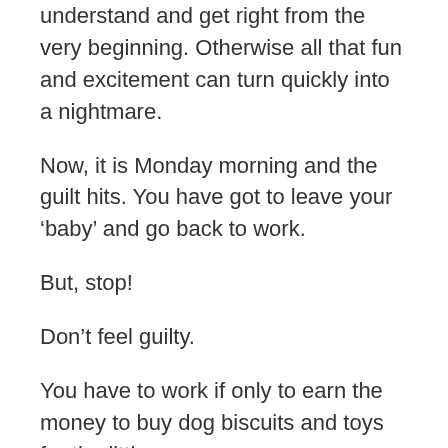understand and get right from the very beginning. Otherwise all that fun and excitement can turn quickly into a nightmare.
Now, it is Monday morning and the guilt hits. You have got to leave your ‘baby’ and go back to work.
But, stop!
Don’t feel guilty.
You have to work if only to earn the money to buy dog biscuits and toys for the little guy.
Is it OK To Leave a Puppy Alone While At Work?